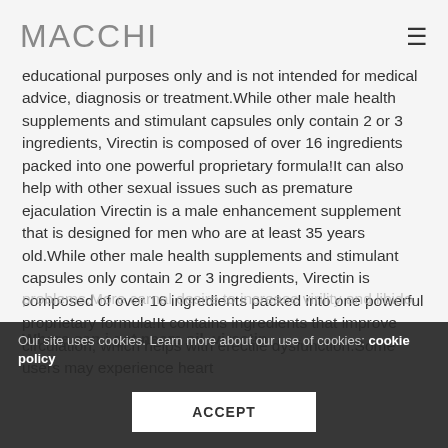MACCHI
educational purposes only and is not intended for medical advice, diagnosis or treatment.While other male health supplements and stimulant capsules only contain 2 or 3 ingredients, Virectin is composed of over 16 ingredients packed into one powerful proprietary formula!It can also help with other sexual issues such as premature ejaculation Virectin is a male enhancement supplement that is designed for men who are at least 35 years old.While other male health supplements and stimulant capsules only contain 2 or 3 ingredients, Virectin is composed of over 16 ingredients packed into one powerful proprietary formula!It contains ingredients that improve circulation, which helps with erectile dysfunction.Some users may experience heart
problems.More carnal desire to increase virility and libido.
Where can i get neem oil, virectin